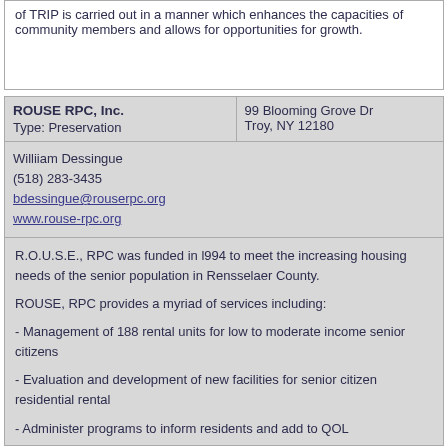of TRIP is carried out in a manner which enhances the capacities of community members and allows for opportunities for growth.
| ROUSE RPC, Inc. | Type: Preservation | 99 Blooming Grove Dr | Troy, NY 12180 |
| --- | --- |
| Williiam Dessingue
(518) 283-3435
bdessingue@rouserpc.org
www.rouse-rpc.org |  |
| R.O.U.S.E., RPC was funded in l994 to meet the increasing housing needs of the senior population in Rensselaer County.

ROUSE, RPC provides a myriad of services including:

- Management of 188 rental units for low to moderate income senior citizens

- Evaluation and development of new facilities for senior citizen residential rental

- Administer programs to inform residents and add to QOL |  |